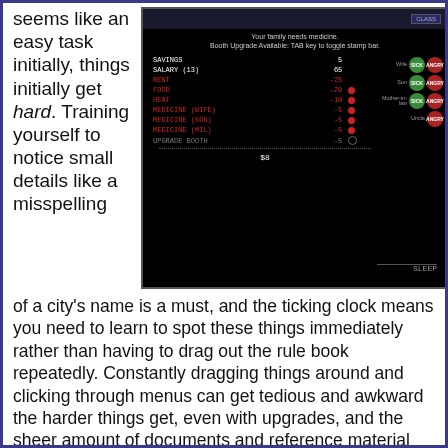seems like an easy task initially, things initially get hard. Training yourself to notice small details like a misspelling of a city's name is a must, and the ticking clock means you need to learn to spot these things immediately rather than having to drag out the rule book repeatedly. Constantly dragging things around and clicking through menus can get tedious and awkward the harder things get, even with upgrades, and the sheer amount of documents and reference material you need
[Figure (screenshot): Screenshot of Papers Please game showing a budget/ledger screen with SAVINGS 5, SALARY (13) 65, RENT -25, FOOD -20, HEAT -10, MEDICINE (WIFE) -5, MEDICINE (SON) -5, MEDICINE (MIL) -5, UPGRADE BOOTH -5, total $8, with family status icons on right showing SICK/ANGRY indicators and a SLEEP button]